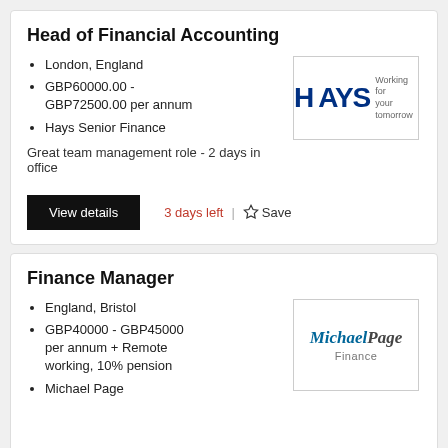Head of Financial Accounting
London, England
GBP60000.00 - GBP72500.00 per annum
Hays Senior Finance
[Figure (logo): Hays logo with tagline 'Working for your tomorrow']
Great team management role - 2 days in office
View details
3 days left
Save
Finance Manager
England, Bristol
GBP40000 - GBP45000 per annum + Remote working, 10% pension
Michael Page
[Figure (logo): Michael Page Finance logo]